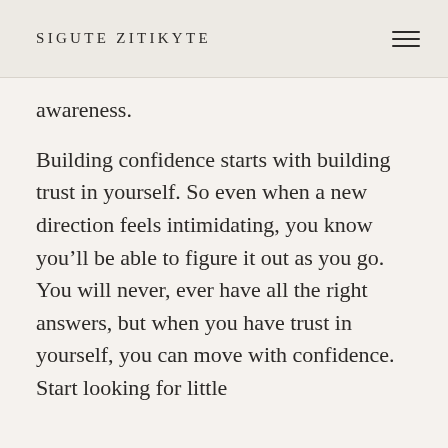SIGUTE ZITIKYTE
awareness.
Building confidence starts with building trust in yourself. So even when a new direction feels intimidating, you know you’ll be able to figure it out as you go. You will never, ever have all the right answers, but when you have trust in yourself, you can move with confidence. Start looking for little